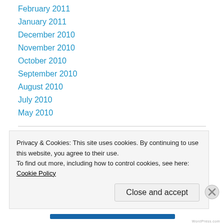February 2011
January 2011
December 2010
November 2010
October 2010
September 2010
August 2010
July 2010
May 2010
Follow Blog via Email
Enter your email address to follow this blog and receive notifications of
Privacy & Cookies: This site uses cookies. By continuing to use this website, you agree to their use.
To find out more, including how to control cookies, see here: Cookie Policy